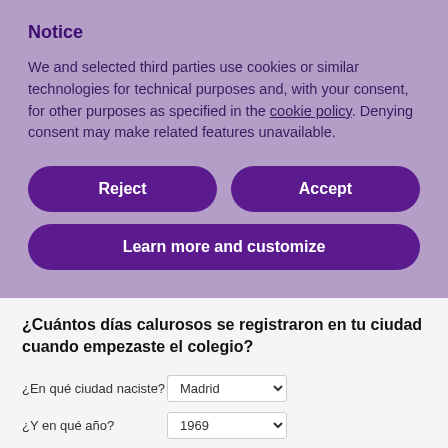Notice
We and selected third parties use cookies or similar technologies for technical purposes and, with your consent, for other purposes as specified in the cookie policy. Denying consent may make related features unavailable.
Reject
Accept
Learn more and customize
¿Cuántos días calurosos se registraron en tu ciudad cuando empezaste el colegio?
¿En qué ciudad naciste? Madrid
¿Y en qué año? 1969
En 2017 ha habido 25 días* por encima de 28 grados en Madrid. El año en que empezaste a ir al colegio (1974) fueron 0.